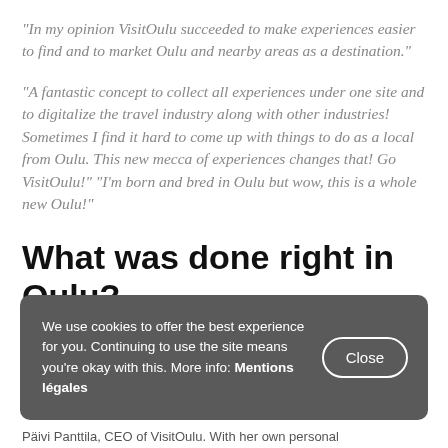“In my opinion VisitOulu succeeded to make experiences easier to find and to market Oulu and nearby areas as a destination.”
“A fantastic concept to collect all experiences under one site and to digitalize the travel industry along with other industries! Sometimes I find it hard to come up with things to do as a local from Oulu. This new mecca of experiences changes that! Go VisitOulu!” “I’m born and bred in Oulu but wow, this is a whole new Oulu!”
What was done right in Oulu?
We use cookies to offer the best experience for you. Continuing to use the site means you’re okay with this. More info: Mentions légales
Päivi Panttila, CEO of VisitOulu. With her own personal